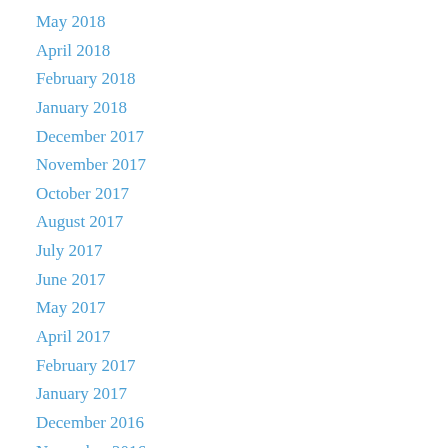May 2018
April 2018
February 2018
January 2018
December 2017
November 2017
October 2017
August 2017
July 2017
June 2017
May 2017
April 2017
February 2017
January 2017
December 2016
November 2016
October 2016
May 2016
April 2016
March 2016